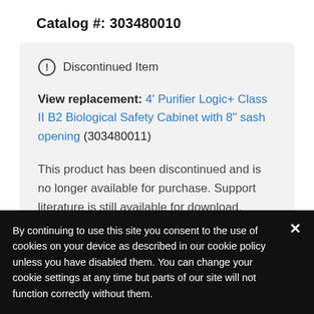Catalog #: 303480010
⊕ Discontinued Item
View replacement: 4' Purifier Logic+ Class II B2 Biological Safety Cabinet with 8" sash opening (303480011)
This product has been discontinued and is no longer available for purchase. Support literature is still available for download.
By continuing to use this site you consent to the use of cookies on your device as described in our cookie policy unless you have disabled them. You can change your cookie settings at any time but parts of our site will not function correctly without them.